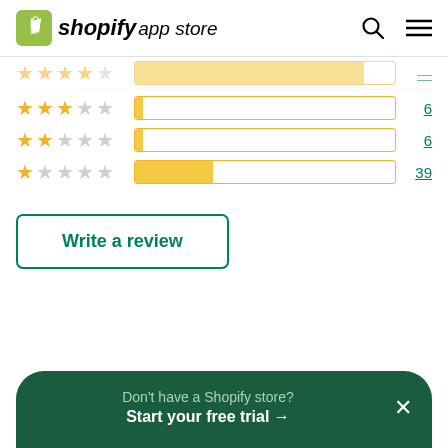[Figure (logo): Shopify App Store logo with green shopping bag icon and bold italic 'shopify app store' text]
[Figure (infographic): Star rating distribution bars: 3-star with tiny fill and count 6, 2-star with tiny fill and count 6, 1-star with ~30% fill and count 39]
Write a review
Don't have a Shopify store? Start your free trial →